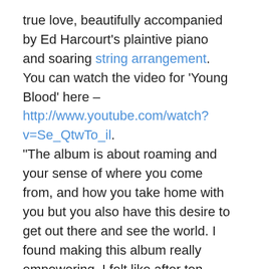true love, beautifully accompanied by Ed Harcourt's plaintive piano and soaring string arrangement. You can watch the video for 'Young Blood' here – http://www.youtube.com/watch?v=Se_QtwTo_il. "The album is about roaming and your sense of where you come from, and how you take home with you but you also have this desire to get out there and see the world. I found making this album really empowering. I felt like after ten years of making records, this is like the biggest present to myself. I'm really proud of it and I feel really excited." Sophie's new album sees the 34 year old star blossoming into an accomplished singer -songwriter with its 11 powerfully understated songs showcasing a newfound maturity, both lyrically and musically. A trailer for the album can be seen here – http://www.youtube.com/watch?